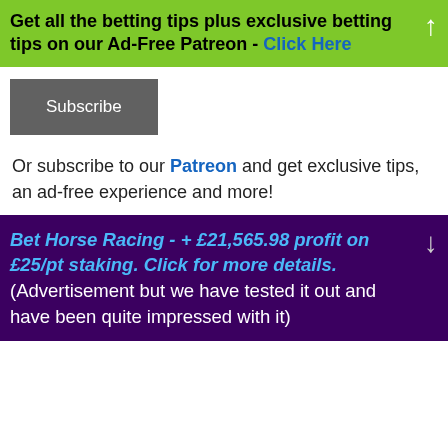Get all the betting tips plus exclusive betting tips on our Ad-Free Patreon - Click Here
Subscribe
Or subscribe to our Patreon and get exclusive tips, an ad-free experience and more!
Bet Horse Racing - + £21,565.98 profit on £25/pt staking. Click for more details. (Advertisement but we have tested it out and have been quite impressed with it)